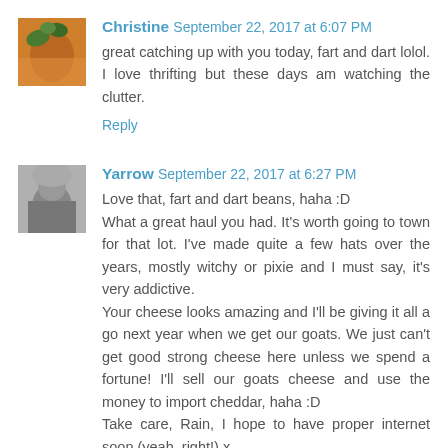[Figure (photo): Small square avatar photo of Christine showing plants/flowers in orange tones]
Christine September 22, 2017 at 6:07 PM
great catching up with you today, fart and dart lolol. I love thrifting but these days am watching the clutter.
Reply
[Figure (photo): Small square avatar photo of Yarrow, black and white, showing a person from behind]
Yarrow September 22, 2017 at 6:27 PM
Love that, fart and dart beans, haha :D
What a great haul you had. It's worth going to town for that lot. I've made quite a few hats over the years, mostly witchy or pixie and I must say, it's very addictive.
Your cheese looks amazing and I'll be giving it all a go next year when we get our goats. We just can't get good strong cheese here unless we spend a fortune! I'll sell our goats cheese and use the money to import cheddar, haha :D
Take care, Rain, I hope to have proper internet soon (yeah, right!) x
Reply